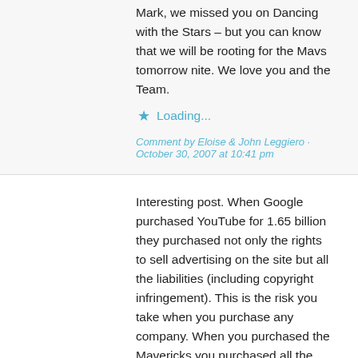Mark, we missed you on Dancing with the Stars – but you can know that we will be rooting for the Mavs tomorrow nite. We love you and the Team.
Loading...
Comment by Eloise & John Leggiero · October 30, 2007 at 10:41 pm
Interesting post. When Google purchased YouTube for 1.65 billion they purchased not only the rights to sell advertising on the site but all the liabilities (including copyright infringement). This is the risk you take when you purchase any company. When you purchased the Mavericks you purchased all the risks associated with the company. If someone was to sue the Mavericks due to a incident that occurred before you took ownership. The way I understand the law you are still liable. Google may get hosed on this deal, but they new the risk before they bought YouTube. They will likely never pay anything anyway. Look at Exxon, they are still fighting over the punitive damages from the 1989 Valdez oil spill.